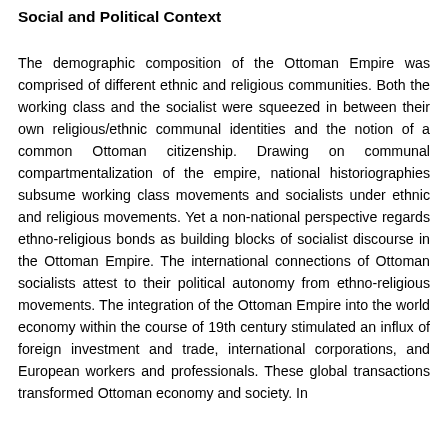Social and Political Context
The demographic composition of the Ottoman Empire was comprised of different ethnic and religious communities. Both the working class and the socialist were squeezed in between their own religious/ethnic communal identities and the notion of a common Ottoman citizenship. Drawing on communal compartmentalization of the empire, national historiographies subsume working class movements and socialists under ethnic and religious movements. Yet a non-national perspective regards ethno-religious bonds as building blocks of socialist discourse in the Ottoman Empire. The international connections of Ottoman socialists attest to their political autonomy from ethno-religious movements. The integration of the Ottoman Empire into the world economy within the course of 19th century stimulated an influx of foreign investment and trade, international corporations, and European workers and professionals. These global transactions transformed Ottoman economy and society. In